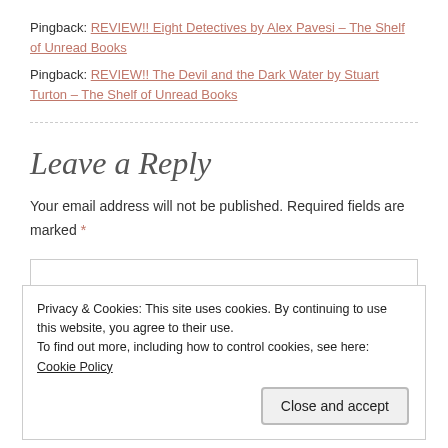Pingback: REVIEW!! Eight Detectives by Alex Pavesi – The Shelf of Unread Books
Pingback: REVIEW!! The Devil and the Dark Water by Stuart Turton – The Shelf of Unread Books
Leave a Reply
Your email address will not be published. Required fields are marked *
Privacy & Cookies: This site uses cookies. By continuing to use this website, you agree to their use.
To find out more, including how to control cookies, see here: Cookie Policy